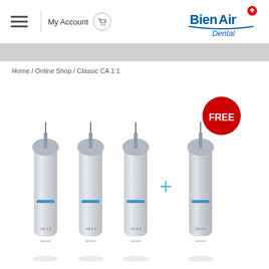[Figure (logo): Bien Air Dental logo with red Swiss cross, blue text]
My Account
Home / Online Shop / Classic CA 1:1
[Figure (photo): Four dental handpieces (Classic CA 1:1) shown side by side. Three on left with a plus sign, fourth on right labeled FREE with red circle badge.]